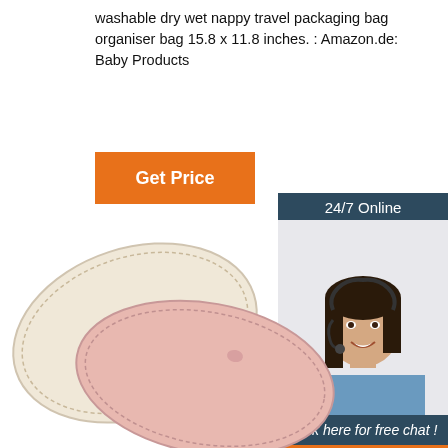washable dry wet nappy travel packaging bag organiser bag 15.8 x 11.8 inches. : Amazon.de: Baby Products
[Figure (other): Orange 'Get Price' button]
[Figure (other): Customer service chat widget with '24/7 Online' header, photo of a woman with headset smiling, 'Click here for free chat!' text, and orange 'QUOTATION' button]
[Figure (photo): Two oval-shaped reusable breast pads/nursing pads, one cream/beige colored and one pink, shown overlapping on a white background]